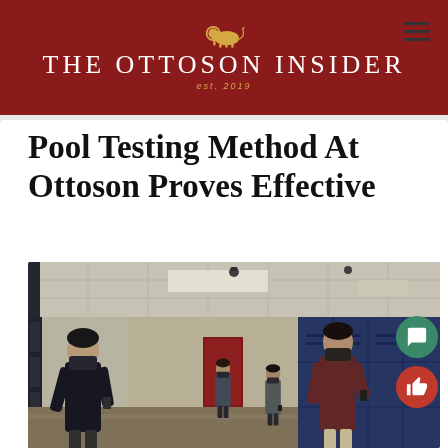THE OTTOSON INSIDER est. 2019
Pool Testing Method At Ottoson Proves Effective
[Figure (photo): Students standing in a school hallway with blue lockers, wearing masks, looking down at their phones or papers. The hallway has a tiled ceiling with fluorescent lights and multiple students visible in the background.]